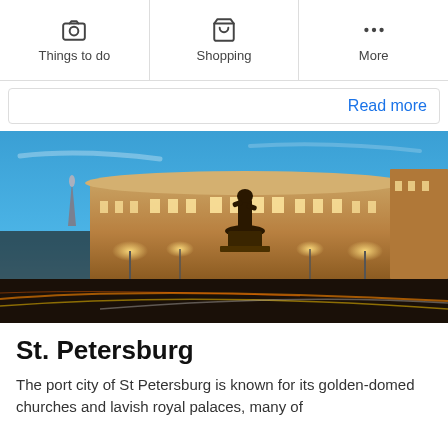Things to do | Shopping | More
Read more
[Figure (photo): Nighttime cityscape of St. Petersburg, Russia, showing a grand illuminated neoclassical building with a bronze equestrian statue in the foreground, light trails from traffic, and a blue twilight sky.]
St. Petersburg
The port city of St Petersburg is known for its golden-domed churches and lavish royal palaces, many of